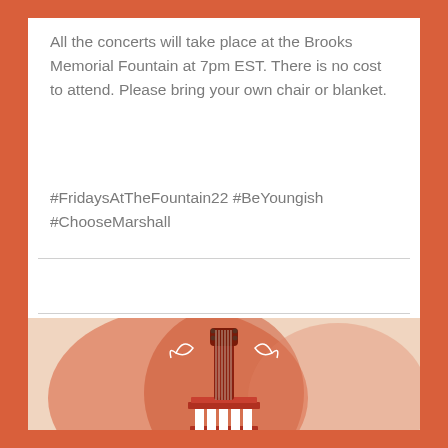All the concerts will take place at the Brooks Memorial Fountain at 7pm EST. There is no cost to attend. Please bring your own chair or blanket.
#FridaysAtTheFountain22 #BeYoungish #ChooseMarshall
[Figure (illustration): Illustration of a guitar or stringed instrument neck and headstock mounted on a classical column/pedestal, rendered in red and dark red with decorative white swirl elements, on a watercolor-style orange and peach background.]